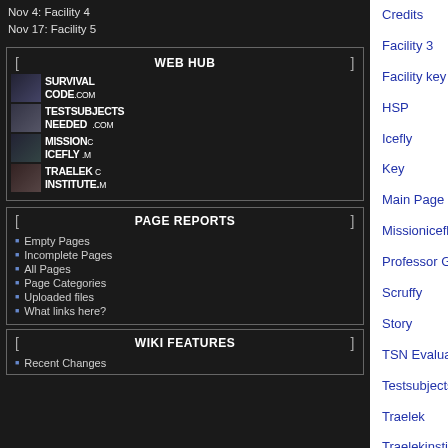Nov 4: Facility 4
Nov 17: Facility 5
WEB HUB
SURVIVALCODE.COM
TESTSUBJECTSNEEDED.COM
MISSIONICEFLY.COM
TRAELEKINSTITUTE.COM
PAGE REPORTS
Empty Pages
Incomplete Pages
All Pages
Page Categories
Uploaded files
What links here?
WIKI FEATURES
Recent Changes
Credits
Facility 1
Facility 3
Facility 4
Facility key
Genesis k
HSP
Home
Icefly
Icefly ma
Key
Keys
Main Page
Max Gna
Missionicefly.com
Mysteries
Professor Gerald Traelek
Professor
Scruffy
Sense pr
Story
Survivalc
TSN Evaluation
TSN badge
Testsubjectsneeded.com
The Gene
Traelek
Traelek In
Traelekinstitute.com/aftermath
Traelakin
Traelekinstitute.com/biophysicsmonthly
Traelakin
Traelekinstitute.com/decoy
Traelakin
Traelekinstitute.com/longing
Traelakin
Video analysis Survival Code Intro
Video ana
Wikiname:About